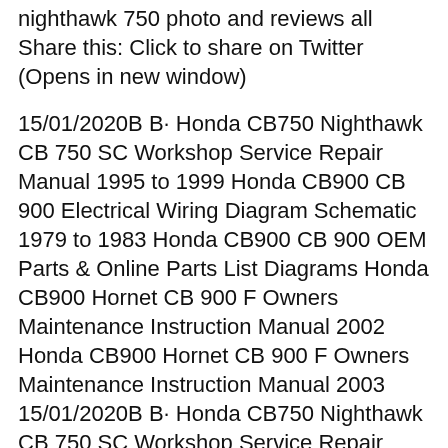nighthawk 750 photo and reviews all Share this: Click to share on Twitter (Opens in new window)
15/01/2020B B· Honda CB750 Nighthawk CB 750 SC Workshop Service Repair Manual 1995 to 1999 Honda CB900 CB 900 Electrical Wiring Diagram Schematic 1979 to 1983 Honda CB900 CB 900 OEM Parts & Online Parts List Diagrams Honda CB900 Hornet CB 900 F Owners Maintenance Instruction Manual 2002 Honda CB900 Hornet CB 900 F Owners Maintenance Instruction Manual 2003 15/01/2020B B· Honda CB750 Nighthawk CB 750 SC Workshop Service Repair Manual 1995 to 1999 Honda CB900 CB 900 Electrical Wiring